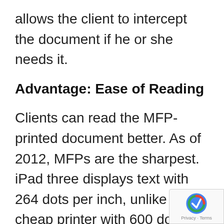allows the client to intercept the document if he or she needs it.
Advantage: Ease of Reading
Clients can read the MFP-printed document better. As of 2012, MFPs are the sharpest. iPad three displays text with 264 dots per inch, unlike a cheap printer with 600 dots per inch. Also, a typical tablet is backlit and glossy, making it prone to sunlight damage and